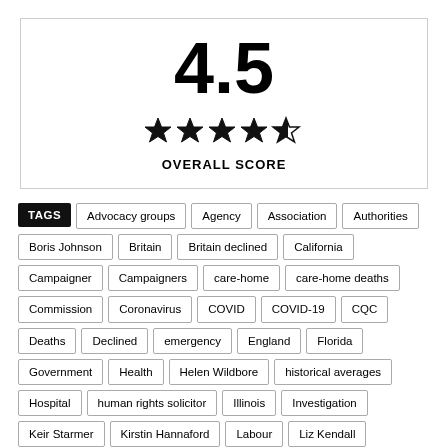4.5
[Figure (infographic): 4.5 out of 5 star rating shown with 4 filled stars and 1 half star, labeled OVERALL SCORE]
TAGS
Advocacy groups
Agency
Association
Authorities
Boris Johnson
Britain
Britain declined
California
Campaigner
Campaigners
care-home
care-home deaths
Commission
Coronavirus
COVID
COVID-19
CQC
Deaths
Declined
emergency
England
Florida
Government
Health
Helen Wildbore
historical averages
Hospital
human rights solicitor
Illinois
Investigation
Keir Starmer
Kirstin Hannaford
Labour
Liz Kendall
Minister
National
National Statistics
New York
Northern Ireland
opposition
opposition Labour leader